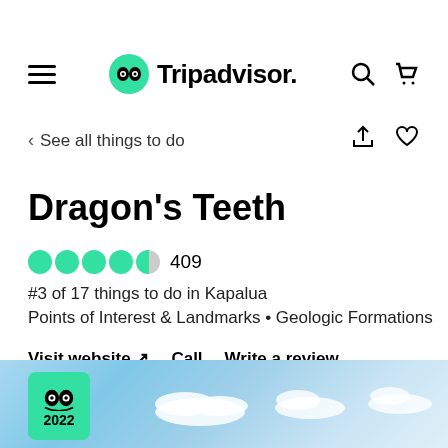Tripadvisor navigation bar with hamburger menu, Tripadvisor logo, search and cart icons
< See all things to do
Dragon's Teeth
4.5 stars  409
#3 of 17 things to do in Kapalua
Points of Interest & Landmarks • Geologic Formations
Visit website ↗   Call   Write a review
[Figure (photo): Tripadvisor 2022 Travelers Choice badge overlaid on a sky/cloud background image at bottom of page]